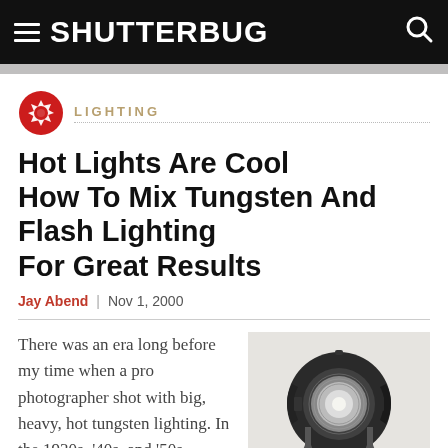SHUTTERBUG
LIGHTING
Hot Lights Are Cool How To Mix Tungsten And Flash Lighting For Great Results
Jay Abend | Nov 1, 2000
There was an era long before my time when a pro photographer shot with big, heavy, hot tungsten lighting. In the 1930s, '40s, and '50s,
[Figure (photo): A black tungsten studio spotlight/fresnel light on a metal yoke mount, photographed against a light gray background.]